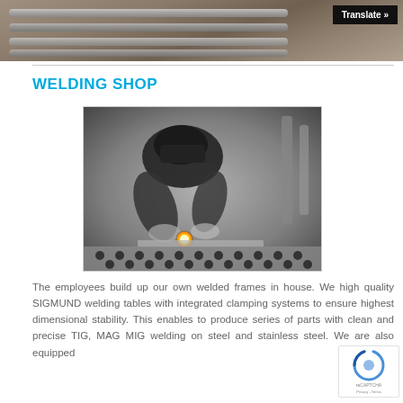[Figure (photo): Top banner showing metallic rods or welding table surface in grayscale with a 'Translate »' button in the top right corner]
WELDING SHOP
[Figure (photo): Black and white photograph of a worker wearing a welding helmet welding on a perforated welding table with bright welding sparks visible]
The employees build up our own welded frames in house. We high quality SIGMUND welding tables with integrated clamping systems to ensure highest dimensional stability. This enables to produce series of parts with clean and precise TIG, MAG MIG welding on steel and stainless steel. We are also equipped